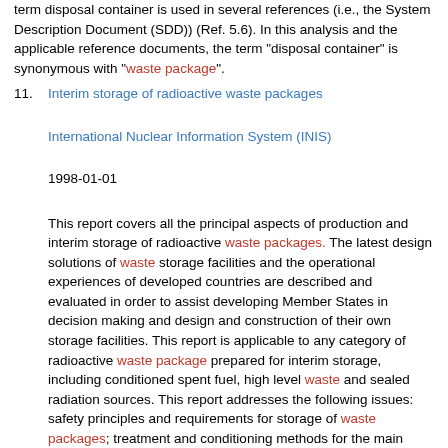term disposal container is used in several references (i.e., the System Description Document (SDD)) (Ref. 5.6). In this analysis and the applicable reference documents, the term "disposal container" is synonymous with "waste package".
11. Interim storage of radioactive waste packages

International Nuclear Information System (INIS)

1998-01-01

This report covers all the principal aspects of production and interim storage of radioactive waste packages. The latest design solutions of waste storage facilities and the operational experiences of developed countries are described and evaluated in order to assist developing Member States in decision making and design and construction of their own storage facilities. This report is applicable to any category of radioactive waste package prepared for interim storage, including conditioned spent fuel, high level waste and sealed radiation sources. This report addresses the following issues: safety principles and requirements for storage of waste packages; treatment and conditioning methods for the main